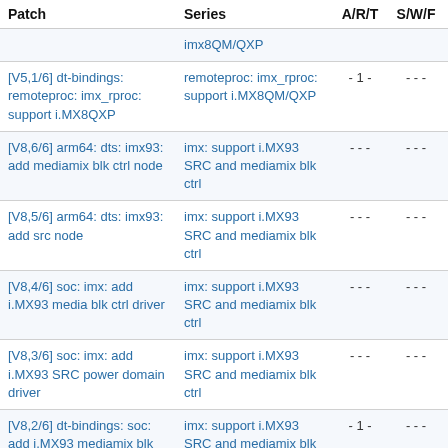| Patch | Series | A/R/T | S/W/F | Da |
| --- | --- | --- | --- | --- |
| imx8QM/QXP (partial/truncated) |  |  |  |  |
| [V5,1/6] dt-bindings: remoteproc: imx_rproc: support i.MX8QXP | remoteproc: imx_rproc: support i.MX8QM/QXP | - 1 - | - - - | 2022 |
| [V8,6/6] arm64: dts: imx93: add mediamix blk ctrl node | imx: support i.MX93 SRC and mediamix blk ctrl | - - - | - - - | 2022 |
| [V8,5/6] arm64: dts: imx93: add src node | imx: support i.MX93 SRC and mediamix blk ctrl | - - - | - - - | 2022 |
| [V8,4/6] soc: imx: add i.MX93 media blk ctrl driver | imx: support i.MX93 SRC and mediamix blk ctrl | - - - | - - - | 2022 |
| [V8,3/6] soc: imx: add i.MX93 SRC power domain driver | imx: support i.MX93 SRC and mediamix blk ctrl | - - - | - - - | 2022 |
| [V8,2/6] dt-bindings: soc: add i.MX93 mediamix blk ctrl | imx: support i.MX93 SRC and mediamix blk ctrl | - 1 - | - - - | 2022 |
| [V8,1/6] dt-bindings: ... (partial) | imx: support ... |  |  |  |